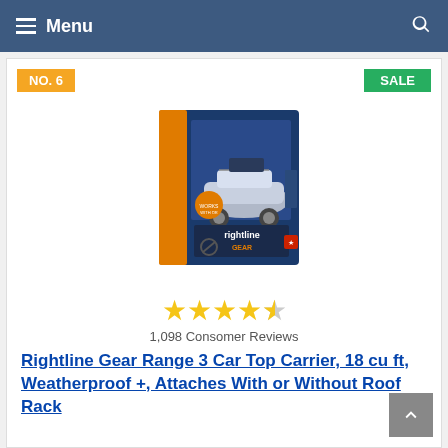Menu
NO. 6
SALE
[Figure (photo): Product box of Rightline Gear Range 3 Car Top Carrier showing the carrier mounted on a car roof rack]
1,098 Consomer Reviews
Rightline Gear Range 3 Car Top Carrier, 18 cu ft, Weatherproof +, Attaches With or Without Roof Rack